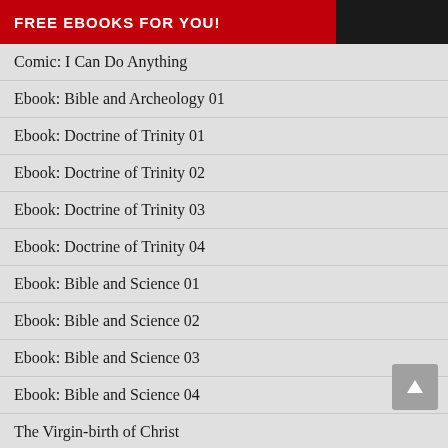FREE EBOOKS FOR YOU!
Comic: I Can Do Anything
Ebook: Bible and Archeology 01
Ebook: Doctrine of Trinity 01
Ebook: Doctrine of Trinity 02
Ebook: Doctrine of Trinity 03
Ebook: Doctrine of Trinity 04
Ebook: Bible and Science 01
Ebook: Bible and Science 02
Ebook: Bible and Science 03
Ebook: Bible and Science 04
The Virgin-birth of Christ
Jesus Outside The Bible